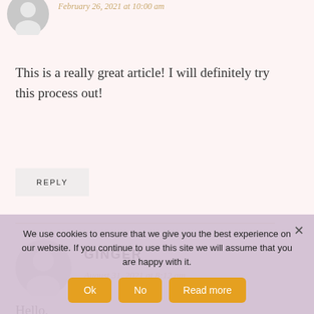[Figure (illustration): Gray circle avatar icon (top, partially visible)]
February 26, 2021 at 10:00 am
This is a really great article! I will definitely try this process out!
REPLY
[Figure (illustration): Gray circle avatar icon for Ginger]
GINGER
August 31, 2021 at 8:12 am
Hello,
We use cookies to ensure that we give you the best experience on our website. If you continue to use this site we will assume that you are happy with it.
Ok
No
Read more